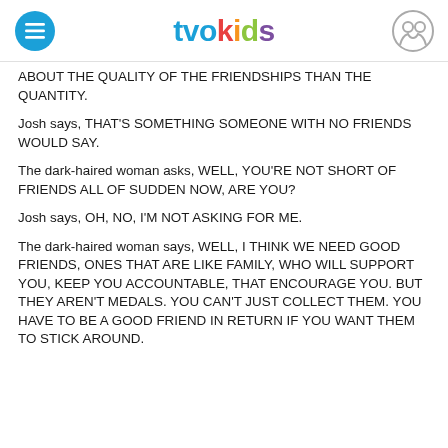tvokids
ABOUT THE QUALITY OF THE FRIENDSHIPS THAN THE QUANTITY.
Josh says, THAT'S SOMETHING SOMEONE WITH NO FRIENDS WOULD SAY.
The dark-haired woman asks, WELL, YOU'RE NOT SHORT OF FRIENDS ALL OF SUDDEN NOW, ARE YOU?
Josh says, OH, NO, I'M NOT ASKING FOR ME.
The dark-haired woman says, WELL, I THINK WE NEED GOOD FRIENDS, ONES THAT ARE LIKE FAMILY, WHO WILL SUPPORT YOU, KEEP YOU ACCOUNTABLE, THAT ENCOURAGE YOU. BUT THEY AREN'T MEDALS. YOU CAN'T JUST COLLECT THEM. YOU HAVE TO BE A GOOD FRIEND IN RETURN IF YOU WANT THEM TO STICK AROUND.